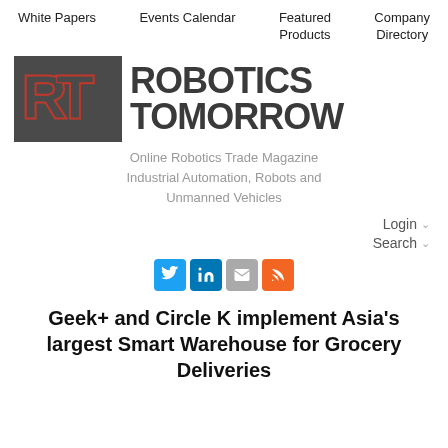White Papers    Events Calendar    Featured Products    Company Directory
[Figure (logo): Robotics Tomorrow logo: dark gray square with red RT letters, followed by bold dark text ROBOTICS TOMORROW]
Online Robotics Trade Magazine
Industrial Automation, Robots and
Unmanned Vehicles
Login
Search
[Figure (other): Social media icons: Twitter (blue), LinkedIn (blue), Email (gray), RSS (orange)]
Geek+ and Circle K implement Asia's largest Smart Warehouse for Grocery Deliveries